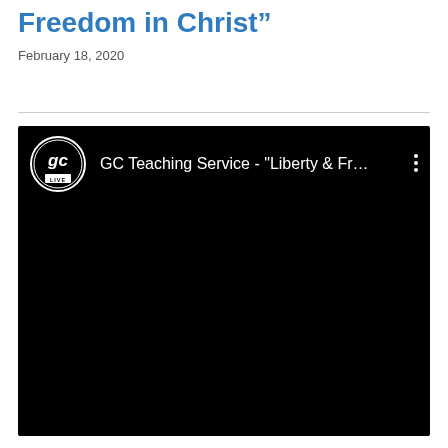Freedom in Christ”
February 18, 2020
[Figure (screenshot): Embedded YouTube video player showing 'GC Teaching Service - "Liberty & Fr...' with GC Live logo on black background]